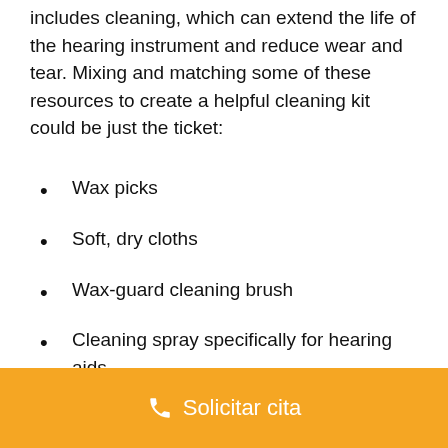includes cleaning, which can extend the life of the hearing instrument and reduce wear and tear. Mixing and matching some of these resources to create a helpful cleaning kit could be just the ticket:
Wax picks
Soft, dry cloths
Wax-guard cleaning brush
Cleaning spray specifically for hearing aids
Disinfectant wipes compatible with hearing
Solicitar cita